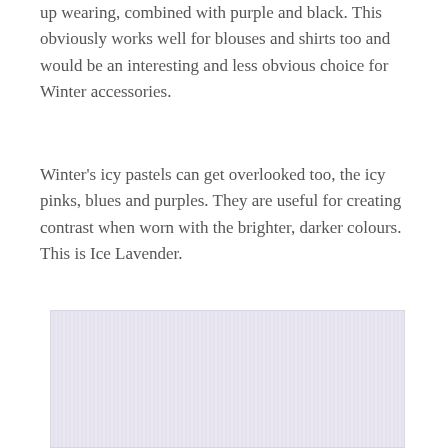up wearing, combined with purple and black. This obviously works well for blouses and shirts too and would be an interesting and less obvious choice for Winter accessories.
Winter's icy pastels can get overlooked too, the icy pinks, blues and purples. They are useful for creating contrast when worn with the brighter, darker colours. This is Ice Lavender.
[Figure (photo): A close-up photograph of a very pale lavender/ice lavender knitted or woven fabric texture, showing fine ribbed vertical lines. The colour is an extremely light, almost white lavender.]